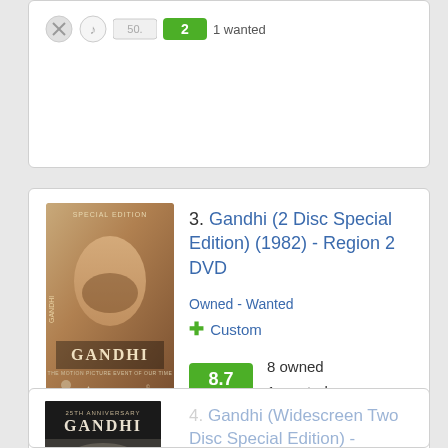[Figure (screenshot): Top card (partially visible): score badge and '1 wanted' text]
3. Gandhi (2 Disc Special Edition) (1982) - Region 2 DVD | Owned - Wanted | Custom | 8.7 | 8 owned | 1 wanted
4. Gandhi (Widescreen Two Disc Special Edition) - Region 1 DVD